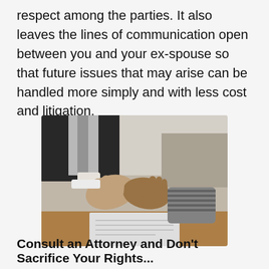respect among the parties. It also leaves the lines of communication open between you and your ex-spouse so that future issues that may arise can be handled more simply and with less cost and litigation.
[Figure (photo): Two people shaking hands across a desk with documents visible, one person in a dark suit with a tie, the other in a striped sleeve. Professional/legal setting photographed from above at an angle.]
Consult an Attorney and Don't Sacrifice Your Rights...